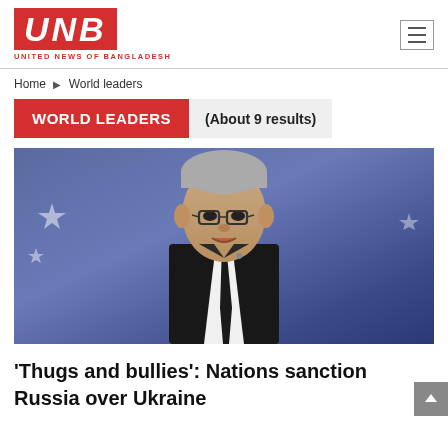[Figure (logo): UNB - United News of Bangladesh logo with red background and white italic letters, with red text subtitle below]
Home » World leaders
WORLD LEADERS
(About 9 results)
[Figure (photo): A man in a dark suit with glasses speaking at a podium, with a blue background featuring stars (Australian flag).]
‘Thugs and bullies’: Nations sanction Russia over Ukraine